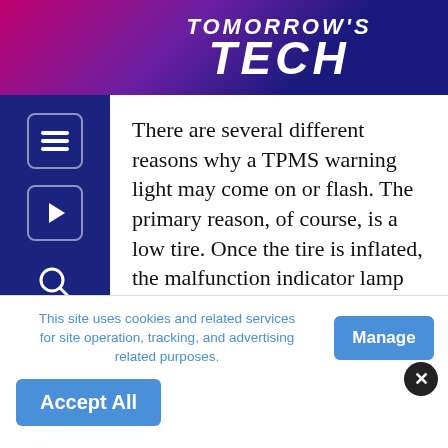TOMORROW'S TECH
There are several different reasons why a TPMS warning light may come on or flash. The primary reason, of course, is a low tire. Once the tire is inflated, the malfunction indicator lamp (MIL) should turn off. When that doesn't happen there could be other problems a shop may have to address. Other issues that may be triggering a light are dead batteries, faulty sensors, a blocked signal to the TPMS module or an electronics f...
This site uses cookies and related services for site operation, tracking, and advertising related purposes.
Manage
Accept All